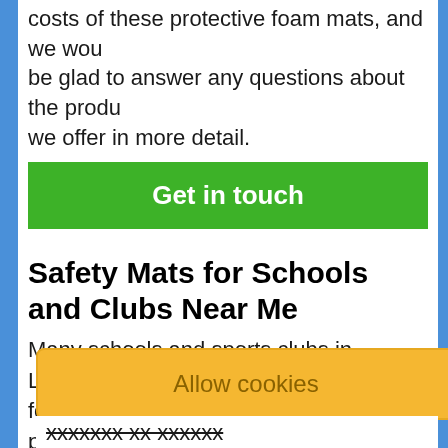costs of these protective foam mats, and we would be glad to answer any questions about the products we offer in more detail.
Get in touch
Safety Mats for Schools and Clubs Near Me
Many schools and sports clubs in Lincolnshire look for foam mat suppliers as they need a protective surface for different sporting activities. We can provide impact-absorbing landing mats for gymnastics, climbing walls, and athletics events high jump and pole vault. Other uses for these safety mats include rugby post protection pads
Allow cookies
xxxxxxx xx xxxxxx